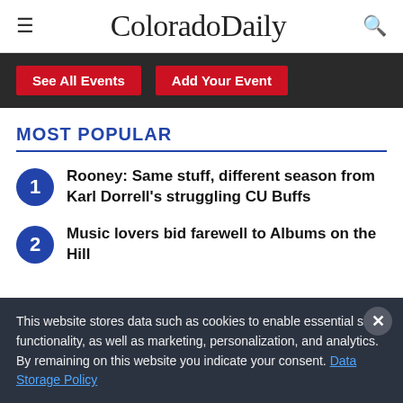ColoradoDaily
[Figure (screenshot): Events bar with dark background showing 'See All Events' and 'Add Your Event' red buttons]
MOST POPULAR
Rooney: Same stuff, different season from Karl Dorrell's struggling CU Buffs
Music lovers bid farewell to Albums on the Hill
This website stores data such as cookies to enable essential site functionality, as well as marketing, personalization, and analytics. By remaining on this website you indicate your consent. Data Storage Policy